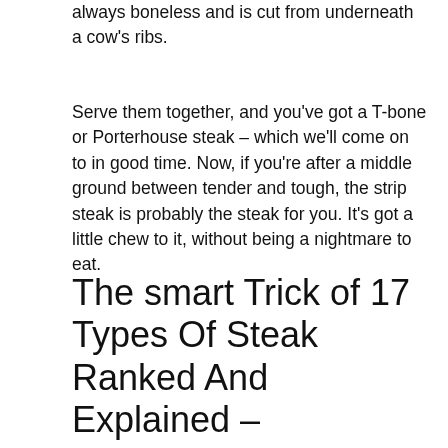always boneless and is cut from underneath a cow's ribs.
Serve them together, and you've got a T-bone or Porterhouse steak – which we'll come on to in good time. Now, if you're after a middle ground between tender and tough, the strip steak is probably the steak for you. It's got a little chew to it, without being a nightmare to eat.
The smart Trick of 17 Types Of Steak Ranked And Explained – Restaurant Clicks That Nobody is Talking About